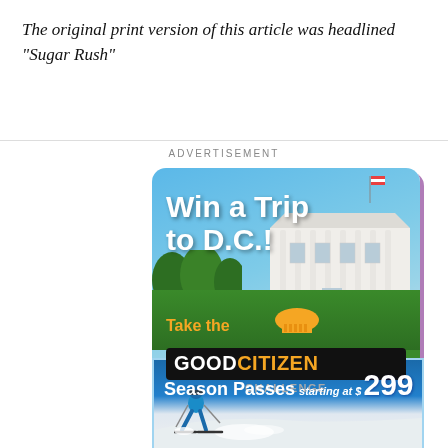The original print version of this article was headlined “Sugar Rush”
ADVERTISEMENT
[Figure (other): Advertisement: Win a Trip to D.C.! Take the Good Citizen Challenge. Shows the White House with blue sky background.]
[Figure (other): Advertisement: Season Passes starting at $299. Shows a skier on a snowy slope.]